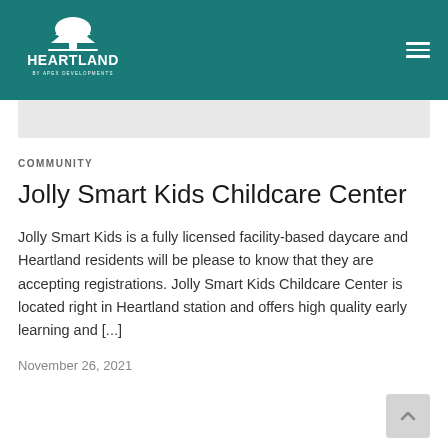[Figure (logo): Heartland by Apex Developments logo — white tree icon above HEARTLAND text, on teal background]
COMMUNITY
Jolly Smart Kids Childcare Center
Jolly Smart Kids is a fully licensed facility-based daycare and Heartland residents will be please to know that they are accepting registrations. Jolly Smart Kids Childcare Center is located right in Heartland station and offers high quality early learning and [...]
November 26, 2021